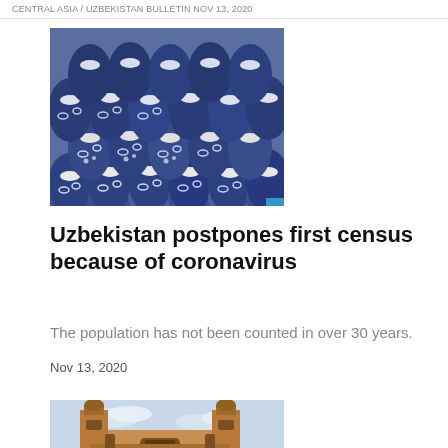CENTRAL ASIA / UZBEKISTAN BULLETIN NOV 13, 2020
[Figure (photo): Stacked blue and white patterned ceramic vessels/pottery bowls, a traditional Uzbek craft, viewed from above.]
Uzbekistan postpones first census because of coronavirus
The population has not been counted in over 30 years.
Nov 13, 2020
[Figure (photo): A historic brick building or mosque with tower/minaret structures against a light sky, likely an Uzbek historical landmark.]